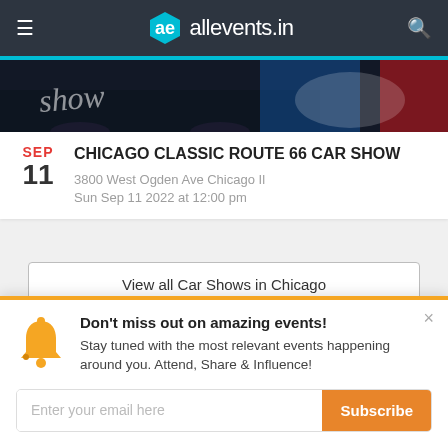allevents.in navigation bar
[Figure (photo): Partial car show banner image showing classic cars in dark/blue tones]
CHICAGO CLASSIC ROUTE 66 CAR SHOW
3800 West Ogden Ave Chicago Il
Sun Sep 11 2022 at 12:00 pm
View all Car Shows in Chicago
Don't miss out on amazing events!
Stay tuned with the most relevant events happening around you. Attend, Share & Influence!
Enter your email here  Subscribe